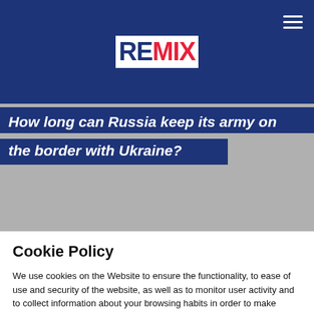REMIX
How long can Russia keep its army on the border with Ukraine?
Cookie Policy
We use cookies on the Website to ensure the functionality, to ease of use and security of the website, as well as to monitor user activity and to collect information about your browsing habits in order to make advertising relevant to you and your interests.
Clicking on "Accept" you can allow all cookies. If you would like to reject or customize, please click on "Settings".
Read more: Cookie Policy
SETTINGS
ACCEPT